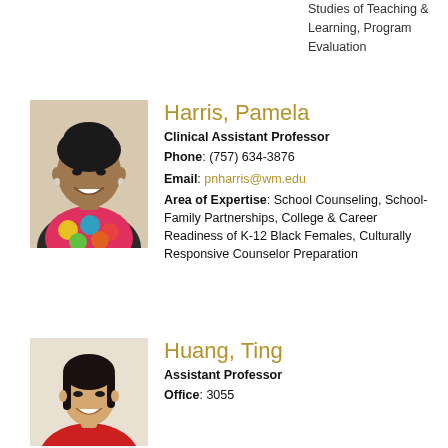Studies of Teaching & Learning, Program Evaluation
Harris, Pamela
Clinical Assistant Professor
Phone: (757) 634-3876
Email: pnharris@wm.edu
Area of Expertise: School Counseling, School-Family Partnerships, College & Career Readiness of K-12 Black Females, Culturally Responsive Counselor Preparation
[Figure (photo): Headshot photo of Pamela Harris]
Huang, Ting
Assistant Professor
Office: 3055
[Figure (photo): Headshot photo of Ting Huang]